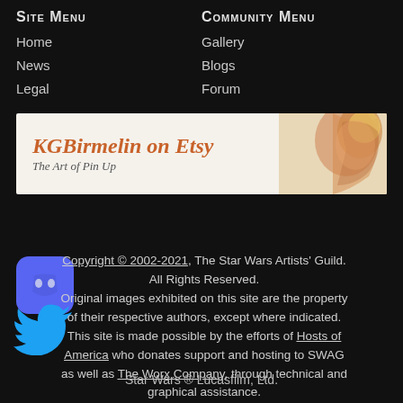Site Menu
Home
News
Legal
Community Menu
Gallery
Blogs
Forum
[Figure (illustration): Banner advertisement for KGBirmelin on Etsy - The Art of Pin Up, with orange/gold artistic illustration on right side]
[Figure (logo): Discord logo icon - purple rounded square with controller/headset icon]
[Figure (logo): Twitter bird logo in blue]
Copyright © 2002-2021, The Star Wars Artists' Guild. All Rights Reserved. Original images exhibited on this site are the property of their respective authors, except where indicated. This site is made possible by the efforts of Hosts of America who donates support and hosting to SWAG as well as The Worx Company, through technical and graphical assistance.
Star Wars ® Lucasfilm, Ltd.